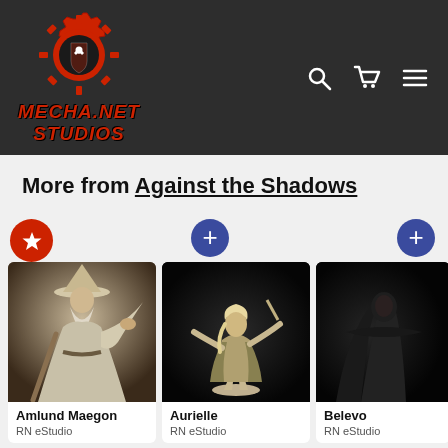[Figure (logo): Mecha.Net Studios logo: red gear with a black raven/bird shield emblem, red stylized text MECHA.NET STUDIOS below]
[Figure (screenshot): Navigation icons: search (magnifying glass), cart (shopping bag), hamburger menu]
More from Against the Shadows
[Figure (photo): Miniature figure of Amlund Maegon: a wizard in a wide-brimmed hat with flowing robes, white/cream painted miniature]
Amlund Maegon
RN eStudio
[Figure (photo): Miniature figure of Aurielle: female figure in action pose with coat, white/cream painted miniature on dark background]
Aurielle
RN eStudio
[Figure (photo): Partial miniature figure of Belevo on dark background, partially cropped]
Belevo
RN eStudio